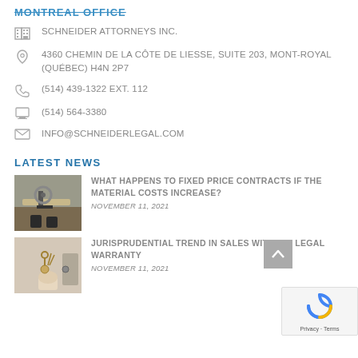MONTREAL OFFICE
SCHNEIDER ATTORNEYS INC.
4360 CHEMIN DE LA CÔTE DE LIESSE, SUITE 203, MONT-ROYAL (QUÉBEC) H4N 2P7
(514) 439-1322 EXT. 112
(514) 564-3380
INFO@SCHNEIDERLEGAL.COM
LATEST NEWS
[Figure (photo): Person using a circular saw on wood planks]
WHAT HAPPENS TO FIXED PRICE CONTRACTS IF THE MATERIAL COSTS INCREASE?
NOVEMBER 11, 2021
[Figure (photo): Hand holding keys at a door lock]
JURISPRUDENTIAL TREND IN SALES WITHOUT LEGAL WARRANTY
NOVEMBER 11, 2021